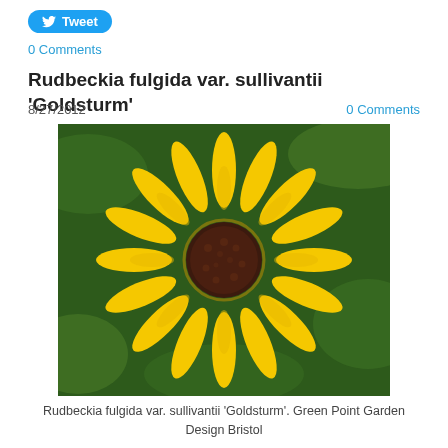[Figure (other): Twitter Tweet button with bird icon]
0 Comments
Rudbeckia fulgida var. sullivantii 'Goldsturm'
8/27/2012
0 Comments
[Figure (photo): Photograph of Rudbeckia fulgida var. sullivantii 'Goldsturm' yellow flower with dark brown center, green foliage in background]
Rudbeckia fulgida var. sullivantii 'Goldsturm'. Green Point Garden Design Bristol